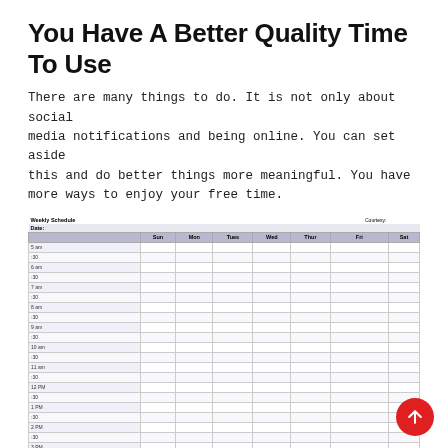You Have A Better Quality Time To Use
There are many things to do. It is not only about social media notifications and being online. You can set aside this and do better things more meaningful. You have more ways to enjoy your free time.
[Figure (table-as-image): Weekly Schedule table with days Sun, Mon, Tues, Wed, Thur, Fri, Sat and time slots from 5 am to 3 PM in 30-minute increments]
You Will Always Become More